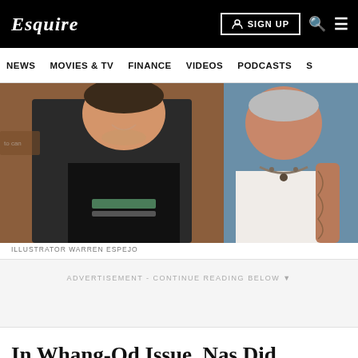Esquire
NEWS   MOVIES & TV   FINANCE   VIDEOS   PODCASTS
[Figure (photo): Two people posed together: a young man in a black t-shirt smiling on the left, and an older tattooed woman in a white tank top with necklaces on the right, set against a blue and rustic background.]
ILLUSTRATOR WARREN ESPEJO
ADVERTISEMENT - CONTINUE READING BELOW
In Whang-Od Issue, Nas Did Nothing Wrong